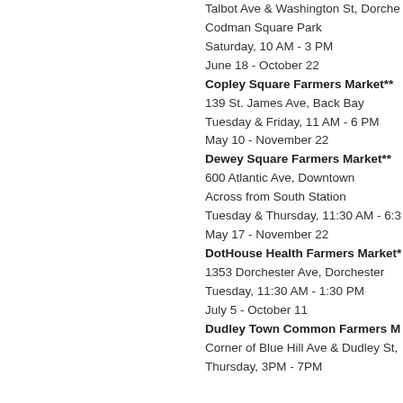Talbot Ave & Washington St, Dorche
Codman Square Park
Saturday, 10 AM - 3 PM
June 18 - October 22
Copley Square Farmers Market**
139 St. James Ave, Back Bay
Tuesday & Friday, 11 AM - 6 PM
May 10 - November 22
Dewey Square Farmers Market**
600 Atlantic Ave, Downtown
Across from South Station
Tuesday & Thursday, 11:30 AM - 6:3
May 17 - November 22
DotHouse Health Farmers Market*
1353 Dorchester Ave, Dorchester
Tuesday, 11:30 AM - 1:30 PM
July 5 - October 11
Dudley Town Common Farmers M
Corner of Blue Hill Ave & Dudley St,
Thursday, 3PM - 7PM